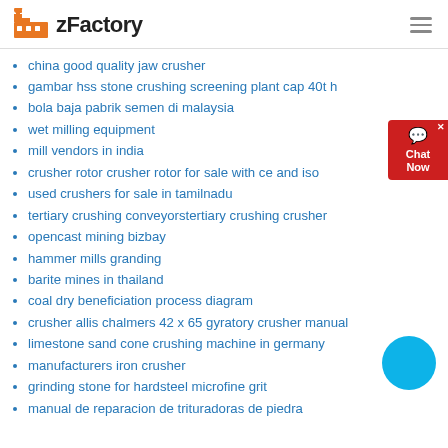zFactory
china good quality jaw crusher
gambar hss stone crushing screening plant cap 40t h
bola baja pabrik semen di malaysia
wet milling equipment
mill vendors in india
crusher rotor crusher rotor for sale with ce and iso
used crushers for sale in tamilnadu
tertiary crushing conveyorstertiary crushing crusher
opencast mining bizbay
hammer mills granding
barite mines in thailand
coal dry beneficiation process diagram
crusher allis chalmers 42 x 65 gyratory crusher manual
limestone sand cone crushing machine in germany
manufacturers iron crusher
grinding stone for hardsteel microfine grit
manual de reparacion de trituradoras de piedra